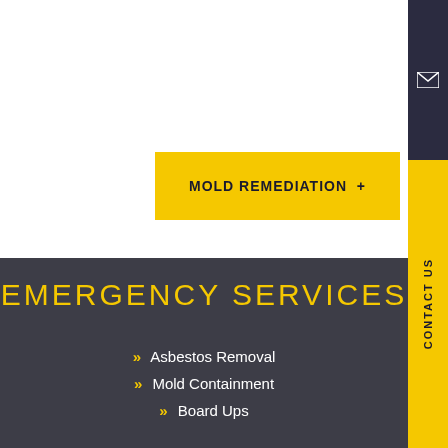MOLD REMEDIATION +
EMERGENCY SERVICES
» Asbestos Removal
» Mold Containment
» Board Ups